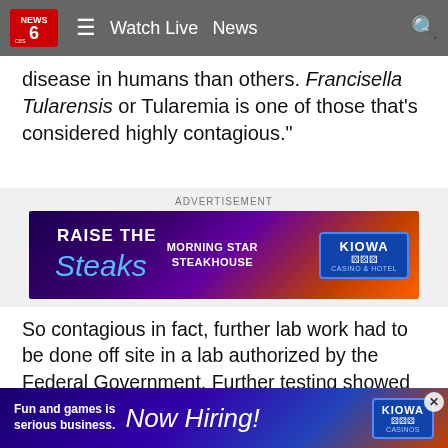NEWS 6 | Watch Live  News
disease in humans than others. Francisella Tularensis or Tularemia is one of those that's considered highly contagious."
[Figure (infographic): RAISE THE Steaks – MORNING STAR STEAKHOUSE – KIOWA CASINO & HOTEL advertisement banner]
So contagious in fact, further lab work had to be done off site in a lab authorized by the Federal Government. Further testing showed samples taken had a less harmful strain.
Researchers are not alarmed but concerned because feral hogs cover a lot of ground and could easily pass the bacteria... are they a group... potentially
[Figure (infographic): Fun and games is serious business. Now Hiring! KIOWA CASINOS – bottom sticky advertisement banner]